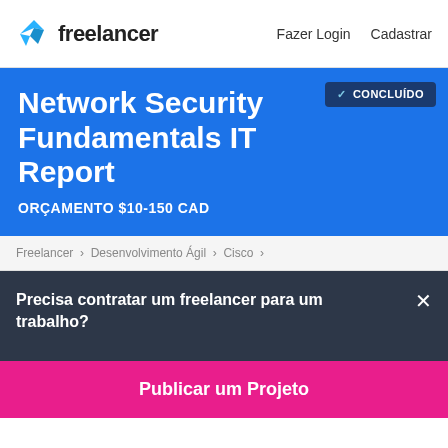freelancer  Fazer Login  Cadastrar
Network Security Fundamentals IT Report
ORÇAMENTO $10-150 CAD
✓ CONCLUÍDO
Freelancer › Desenvolvimento Ágil › Cisco ›
Precisa contratar um freelancer para um trabalho?
Publicar um Projeto